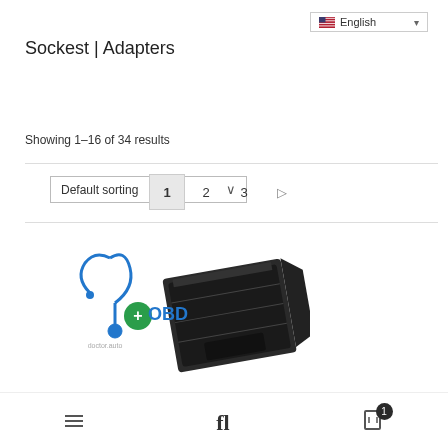[Figure (screenshot): Language selector dropdown showing English with US flag icon]
Sockest | Adapters
[Figure (screenshot): Default sorting dropdown selector]
Showing 1–16 of 34 results
[Figure (screenshot): Pagination controls showing pages 1, 2, 3 and next arrow. Page 1 is active/highlighted.]
[Figure (photo): Product photo of a black OBD adapter/socket device with a diagnostic tool logo (OBD+ with stethoscope icon in blue and green). Watermark text reads 'doctor.auto'.]
[Figure (screenshot): Mobile navigation bar at bottom with menu icon, search/font icon, and cart icon with badge showing 1 item]